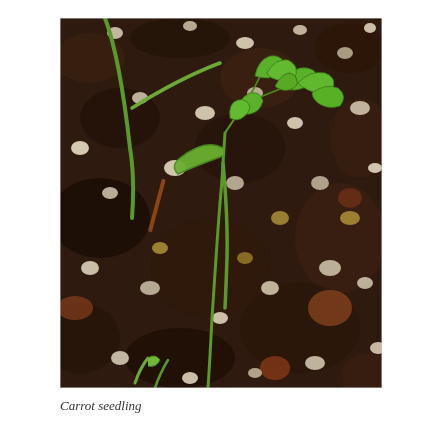[Figure (photo): Close-up photograph of a carrot seedling emerging from dark soil mixed with perlite. The seedling has a thin green stem with narrow cotyledon leaves and a small compound leaf with serrated leaflets at the top. Another grass-like seedling is visible in the upper left. A small green sprout appears at the bottom.]
Carrot seedling